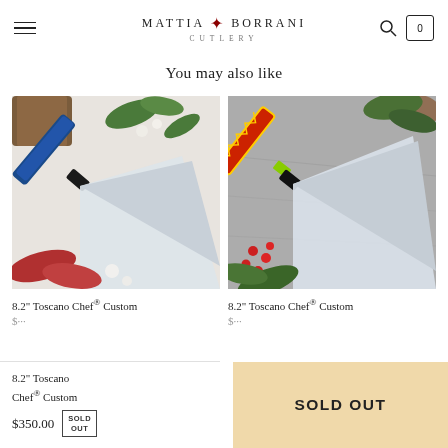MATTIA ✦ BORRANI CUTLERY
You may also like
[Figure (photo): Chef knife with blue handle on white salt/floral background]
8.2" Toscano Chef® Custom
$...
[Figure (photo): Chef knife with colorful red/yellow/green handle on gray stone background with red berries]
8.2" Toscano Chef® Custom
$...
8.2" Toscano Chef® Custom
$350.00 SOLD OUT
SOLD OUT